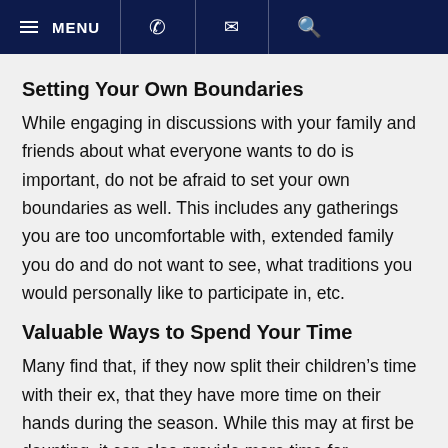MENU [phone] [email] [search]
Setting Your Own Boundaries
While engaging in discussions with your family and friends about what everyone wants to do is important, do not be afraid to set your own boundaries as well. This includes any gatherings you are too uncomfortable with, extended family you do and do not want to see, what traditions you would personally like to participate in, etc.
Valuable Ways to Spend Your Time
Many find that, if they now split their children’s time with their ex, that they have more time on their hands during the season. While this may at first be daunting, it can also provide more time for relaxation and less